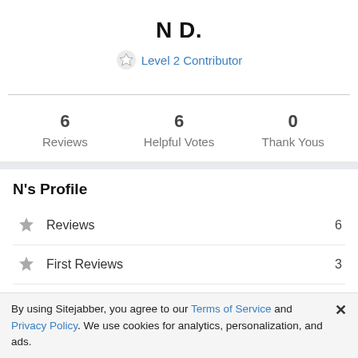N D.
Level 2 Contributor
| Metric | Value |
| --- | --- |
| Reviews | 6 |
| Helpful Votes | 6 |
| Thank Yous | 0 |
N's Profile
Reviews  6
First Reviews  3
Votes  6
By using Sitejabber, you agree to our Terms of Service and Privacy Policy. We use cookies for analytics, personalization, and ads.